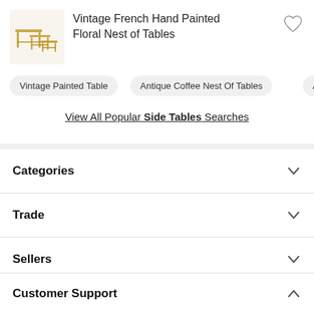[Figure (photo): Small thumbnail image of a vintage French hand painted floral nest of tables, showing stacked wooden tables]
Vintage French Hand Painted Floral Nest of Tables
Vintage Painted Table
Antique Coffee Nest Of Tables
View All Popular Side Tables Searches
Categories
Trade
Sellers
Our Company
Customer Support